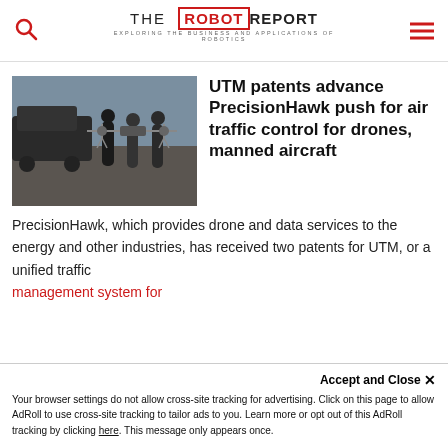THE ROBOT REPORT - EXPLORING THE BUSINESS AND APPLICATIONS OF ROBOTICS
[Figure (photo): People standing outdoors holding a drone, with a vehicle in the background]
UTM patents advance PrecisionHawk push for air traffic control for drones, manned aircraft
PrecisionHawk, which provides drone and data services to the energy and other industries, has received two patents for UTM, or a unified traffic management system for
Accept and Close ✕
Your browser settings do not allow cross-site tracking for advertising. Click on this page to allow AdRoll to use cross-site tracking to tailor ads to you. Learn more or opt out of this AdRoll tracking by clicking here. This message only appears once.